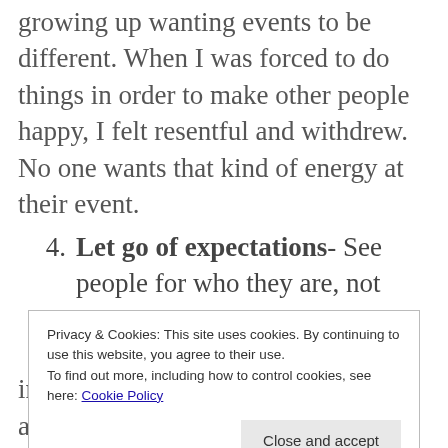because I was the one in my family growing up wanting events to be different. When I was forced to do things in order to make other people happy, I felt resentful and withdrew. No one wants that kind of energy at their event.
4. Let go of expectations- See people for who they are, not what you want them to be. People will show and tell you what they want and who they are,
Privacy & Cookies: This site uses cookies. By continuing to use this website, you agree to their use.
To find out more, including how to control cookies, see here: Cookie Policy
important to you. For the holidays and